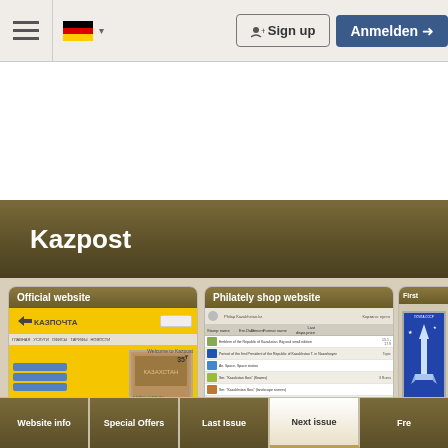Navigation bar with hamburger menu, German flag, Sign up button, Anmelden button
Kazpost
[Figure (screenshot): Official website screenshot showing Kazpochta (Казпочта) website with yellow header, Kazakhstan stamp showing 35, navigation buttons, and footer with Samruk and e-gov logos]
[Figure (screenshot): Philately shop website screenshot showing a table listing of Kazakhstan stamps with thumbnails, stamp names, issue numbers and prices]
[Figure (screenshot): First stamp card showing a blue Soviet-era stamp with rocket/space theme]
Website info | Special Offers | Last Issue | Next issue | Fre...